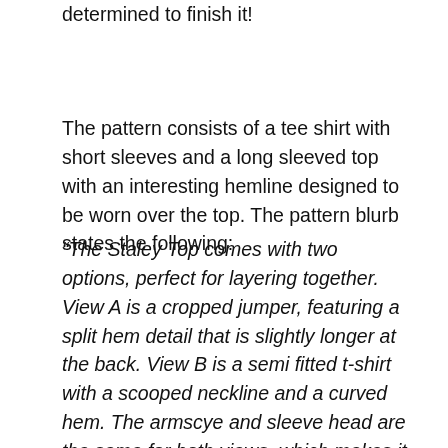determined to finish it!
The pattern consists of a tee shirt with short sleeves and a long sleeved top with an interesting hemline designed to be worn over the top. The pattern blurb states the following:
“The Staley Top comes with two options, perfect for layering together. View A is a cropped jumper, featuring a split hem detail that is slightly longer at the back. View B is a semi fitted t-shirt with a scooped neckline and a curved hem. The armscye and sleeve head are the same for both views, which makes it easy to mix and match pattern pieces if you’d prefer View A with short sleeves or View B with long sleeves.